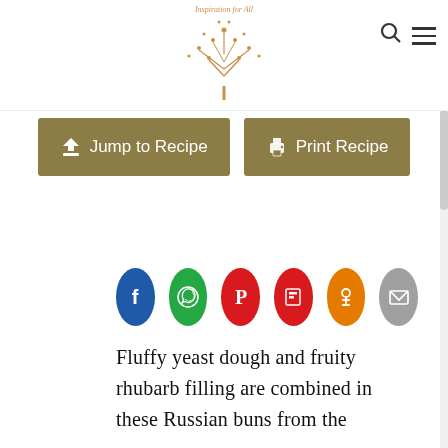[Figure (logo): Inspiration for All website logo — decorative tree with text 'Inspiration for All' in copper/gold script]
[Figure (illustration): Two olive/tan colored buttons: 'Jump to Recipe' (with down arrow icon) and 'Print Recipe' (with printer icon)]
[Figure (illustration): Row of six social share icon circles: Facebook (blue), WhatsApp (green), Pinterest (red), Flipboard (red), Odnoklassniki (orange), Email (grey)]
Fluffy yeast dough and fruity rhubarb filling are combined in these Russian buns from the